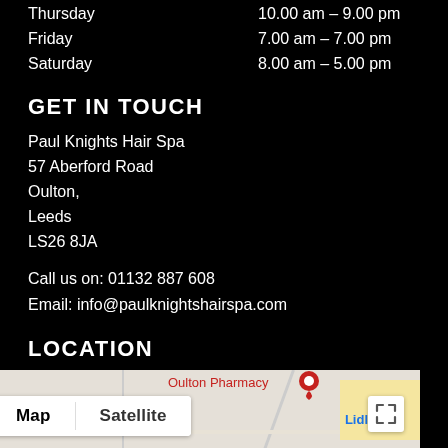Thursday   10.00 am – 9.00 pm
Friday   7.00 am – 7.00 pm
Saturday   8.00 am – 5.00 pm
GET IN TOUCH
Paul Knights Hair Spa
57 Aberford Road
Oulton,
Leeds
LS26 8JA
Call us on: 01132 887 608
Email: info@paulknightshairspa.com
LOCATION
[Figure (map): Google Map showing location of Paul Knights Hair Spa in Oulton, Leeds. Map/Satellite toggle visible. Nearby landmarks: Oulton Pharmacy, Lidl, Oulton Institute, Oulton Methodist Church.]